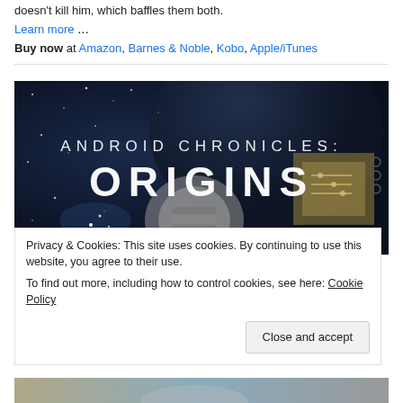doesn't kill him, which baffles them both.
Learn more …
Buy now at Amazon, Barnes & Noble, Kobo, Apple/iTunes
[Figure (illustration): Book cover image for 'Android Chronicles: Origins' featuring space and robotic/circuit board imagery with the title text in large white letters on a dark blue background.]
Privacy & Cookies: This site uses cookies. By continuing to use this website, you agree to their use.
To find out more, including how to control cookies, see here: Cookie Policy
Close and accept
[Figure (illustration): Bottom partial image showing what appears to be a robotic or mechanical figure.]